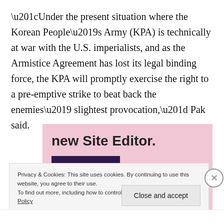“Under the present situation where the Korean People’s Army (KPA) is technically at war with the U.S. imperialists, and as the Armistice Agreement has lost its legal binding force, the KPA will promptly exercise the right to a pre-emptive strike to beat back the enemies’ slightest provocation,” Pak said.
[Figure (screenshot): Advertisement banner with pink background showing 'new Site Editor.' text and a dark purple 'Start Today' button]
Privacy & Cookies: This site uses cookies. By continuing to use this website, you agree to their use.
To find out more, including how to control cookies, see here: Cookie Policy
Close and accept